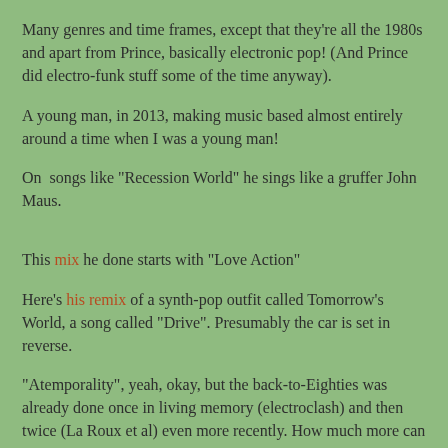Many genres and time frames, except that they're all the 1980s and apart from Prince, basically electronic pop!  (And Prince did electro-funk stuff some of the time anyway).
A young man, in 2013, making music based almost entirely around a time when I was a young man!
On  songs like "Recession World" he sings like a gruffer John Maus.
This mix he done starts with "Love Action"
Here's his remix of a synth-pop outfit called Tomorrow's World, a song called "Drive". Presumably the car is set in reverse.
"Atemporality", yeah, okay, but the back-to-Eighties was already done once in living memory (electroclash) and then twice (La Roux et al) even more recently. How much more can be eked out of this patch of sound?